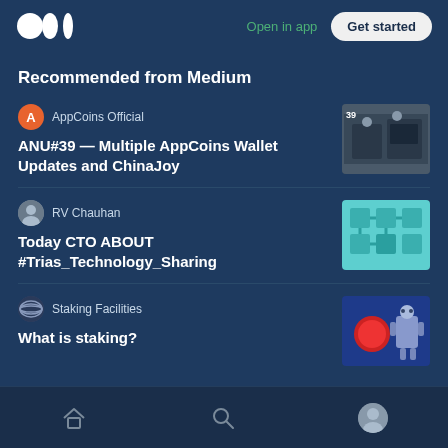Medium — Open in app | Get started
Recommended from Medium
AppCoins Official
ANU#39 — Multiple AppCoins Wallet Updates and ChinaJoy
[Figure (photo): Thumbnail image for ANU#39 AppCoins article showing office scene]
RV Chauhan
Today CTO ABOUT #Trias_Technology_Sharing
[Figure (photo): Thumbnail image for Trias Technology Sharing article showing teal puzzle/tech graphic]
Staking Facilities
What is staking?
[Figure (photo): Thumbnail image for staking article showing red and robot figures on blue background]
Home | Search | Profile